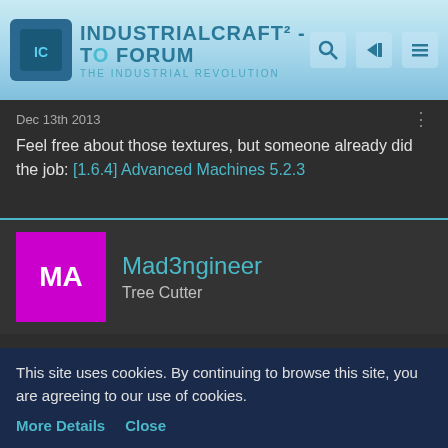[Figure (screenshot): IndustrialCraft² forum website header banner with logo, site title, subtitle 'The Industrial Revolution', and navigation icons]
Dec 13th 2013
Feel free about those textures, but someone already did the job: [1.6.4] Advanced Machines 5.2.3
Mad3ngineer
Tree Cutter
Dec 13th 2013
Also, something I noticed about the rotary macerator... If you look at the last image I posted, you will see that the progress-overlay is about 4 pixels (to the right) off from
This site uses cookies. By continuing to browse this site, you are agreeing to our use of cookies.
More Details   Close